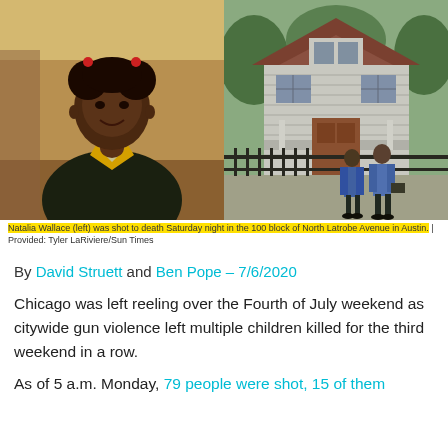[Figure (photo): Two side-by-side photos: left shows a young Black girl in a dark school uniform with a yellow lanyard smiling at the camera; right shows two police officers in blue uniforms walking past a gray wooden two-story house with a black iron fence.]
Natalia Wallace (left) was shot to death Saturday night in the 100 block of North Latrobe Avenue in Austin. | Provided: Tyler LaRiviere/Sun Times
By David Struett and Ben Pope – 7/6/2020
Chicago was left reeling over the Fourth of July weekend as citywide gun violence left multiple children killed for the third weekend in a row.
As of 5 a.m. Monday, 79 people were shot, 15 of them